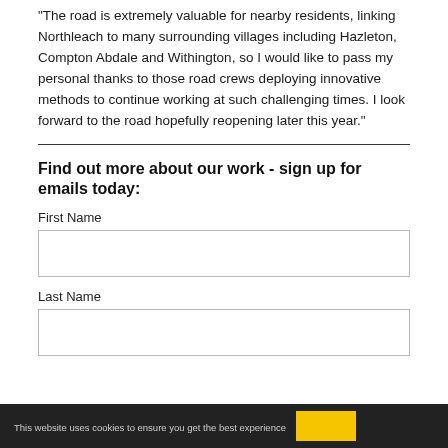“The road is extremely valuable for nearby residents, linking Northleach to many surrounding villages including Hazleton, Compton Abdale and Withington, so I would like to pass my personal thanks to those road crews deploying innovative methods to continue working at such challenging times.  I look forward to the road hopefully reopening later this year.”
Find out more about our work - sign up for emails today:
First Name
Last Name
This website uses cookies to ensure you get the best experience